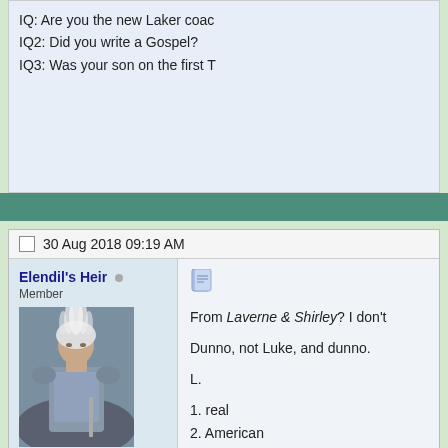IQ: Are you the new Laker coac
IQ2: Did you write a Gospel?
IQ3: Was your son on the first T
30 Aug 2018 09:19 AM
Elendil's Heir
Member
[Figure (photo): Avatar image of a warrior in armor with a white feathered helmet, resembling a scene from a fantasy film]
Registered: Sep 2009
Location: The North Coast
Posts: 23,621
From Laverne & Shirley? I don't

Dunno, not Luke, and dunno.

L.

1. real
2. American
30 Aug 2018 12:54 PM
Erictelevision